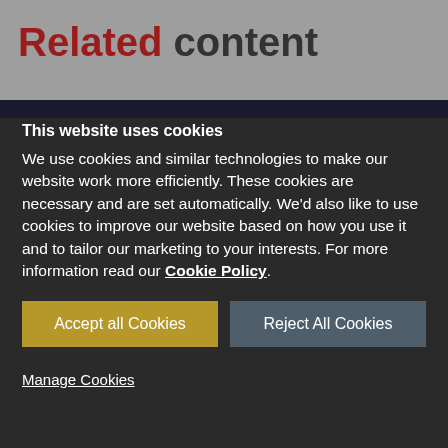Related content
This website uses cookies
We use cookies and similar technologies to make our website work more efficiently. These cookies are necessary and are set automatically. We'd also like to use cookies to improve our website based on how you use it and to tailor our marketing to your interests. For more information read our Cookie Policy.
Accept all Cookies
Reject All Cookies
Manage Cookies